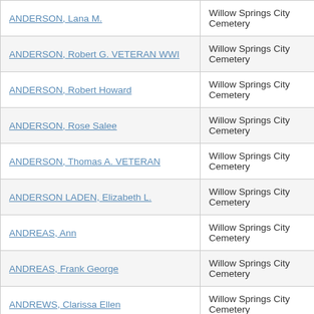| Name | Cemetery | County |
| --- | --- | --- |
| ANDERSON, Lana M. | Willow Springs City Cemetery | Howell |
| ANDERSON, Robert G. VETERAN WWI | Willow Springs City Cemetery | Howell |
| ANDERSON, Robert Howard | Willow Springs City Cemetery | Howell |
| ANDERSON, Rose Salee | Willow Springs City Cemetery | Howell |
| ANDERSON, Thomas A. VETERAN | Willow Springs City Cemetery | Howell |
| ANDERSON LADEN, Elizabeth L. | Willow Springs City Cemetery | Howell |
| ANDREAS, Ann | Willow Springs City Cemetery | Howell |
| ANDREAS, Frank George | Willow Springs City Cemetery | Howell |
| ANDREWS, Clarissa Ellen | Willow Springs City Cemetery | Howell |